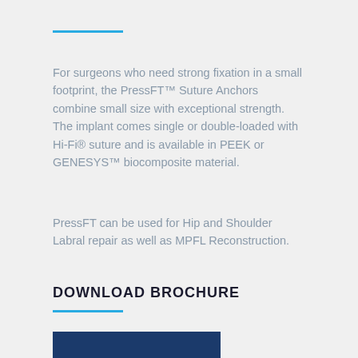For surgeons who need strong fixation in a small footprint, the PressFT™ Suture Anchors combine small size with exceptional strength. The implant comes single or double-loaded with Hi-Fi® suture and is available in PEEK or GENESYS™ biocomposite material.
PressFT can be used for Hip and Shoulder Labral repair as well as MPFL Reconstruction.
DOWNLOAD BROCHURE